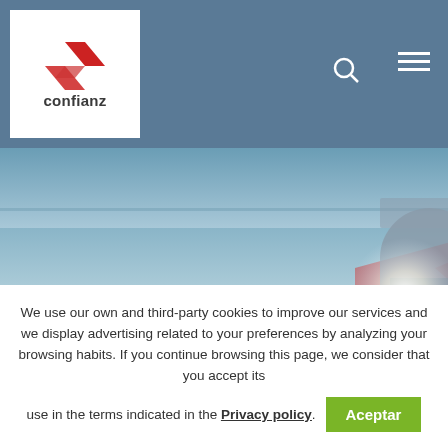[Figure (logo): Confianz company logo with red arrow-like symbol above the text 'confianz']
[Figure (photo): Industrial hero image with light blue/teal sky background, large red/pink translucent triangular logo shape in center, and a storage tank or industrial structure on the right side with bright light]
We use our own and third-party cookies to improve our services and we display advertising related to your preferences by analyzing your browsing habits. If you continue browsing this page, we consider that you accept its use in the terms indicated in the Privacy policy. Aceptar